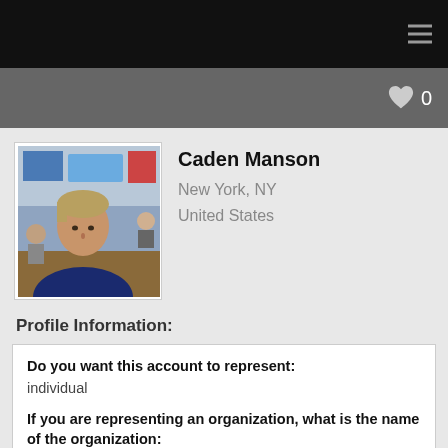[Figure (screenshot): Top navigation bar with dark background and hamburger menu icon on the right]
[Figure (screenshot): Gray sub-bar with heart icon and count '0' on the right]
[Figure (photo): Profile photo of Caden Manson, a man sitting in a restaurant setting]
Caden Manson
New York, NY
United States
Profile Information:
Do you want this account to represent:
individual
If you are representing an organization, what is the name of the organization:
Big Art Group, Contemporary Performance
If you are representing an organization, what kind of organization?